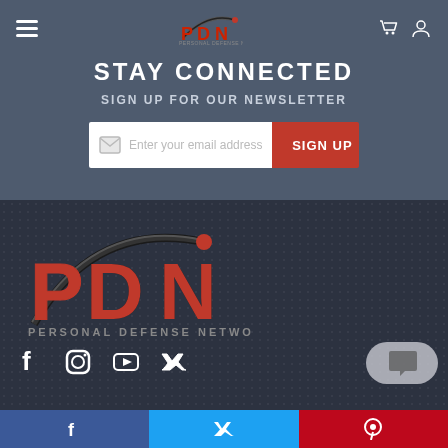[Figure (screenshot): PDN Personal Defense Network website screenshot showing newsletter signup and logo]
STAY CONNECTED
SIGN UP FOR OUR NEWSLETTER
[Figure (logo): PDN Personal Defense Network large logo]
Facebook, Twitter, Pinterest share bar at bottom